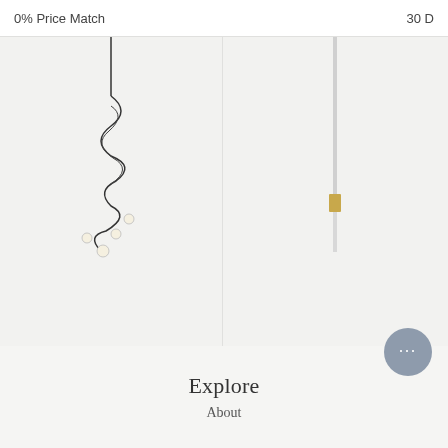0% Price Match    30 D
[Figure (illustration): Le Klint Pliverre Chandelier product image showing a modern chandelier with tangled black wire and small bulbs]
Le Klint Pliverre Chandelier
$ 2,190.00
[Figure (illustration): Droog Milk Bottle Lamp - 12 pcs Chandelier product image showing a minimalist lamp with a thin vertical rod and brass accent]
Droog Milk Bottle Lamp - 12 pcs Chandelier
$ 1,490.00
Explore
About